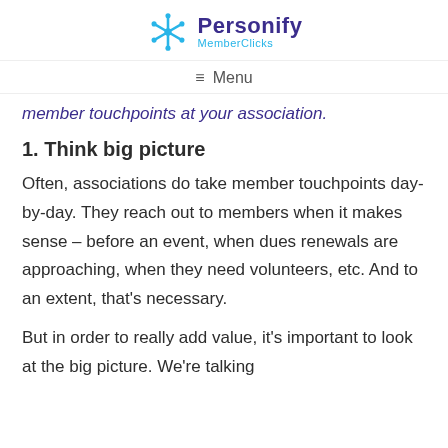Personify MemberClicks
≡ Menu
member touchpoints at your association.
1. Think big picture
Often, associations do take member touchpoints day-by-day. They reach out to members when it makes sense – before an event, when dues renewals are approaching, when they need volunteers, etc. And to an extent, that's necessary.
But in order to really add value, it's important to look at the big picture. We're talking